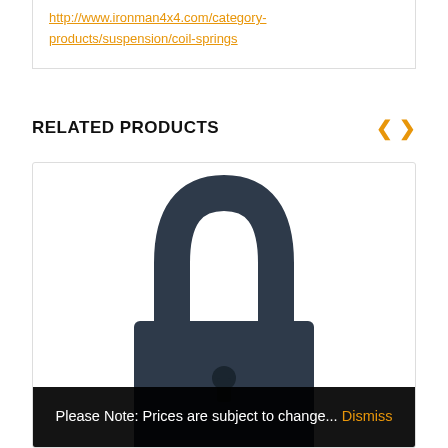http://www.ironman4x4.com/category-products/suspension/coil-springs
RELATED PRODUCTS
[Figure (photo): A dark navy/steel U-shackle padlock shown upright against a white background, with a black overlay notification bar at the bottom reading: Please Note: Prices are subject to change... Dismiss]